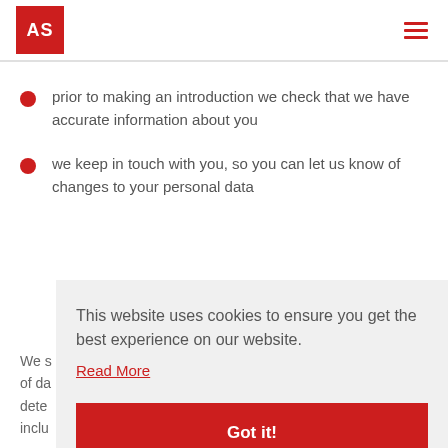AS
prior to making an introduction we check that we have accurate information about you
we keep in touch with you, so you can let us know of changes to your personal data
We s... of da... dete... inclu...
This website uses cookies to ensure you get the best experience on our website.
Read More
Got it!